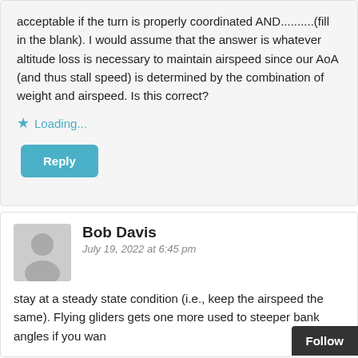acceptable if the turn is properly coordinated AND..........(fill in the blank). I would assume that the answer is whatever altitude loss is necessary to maintain airspeed since our AoA (and thus stall speed) is determined by the combination of weight and airspeed. Is this correct?
Loading...
Reply
Bob Davis
July 19, 2022 at 6:45 pm
stay at a steady state condition (i.e., keep the airspeed the same). Flying gliders gets one more used to steeper bank angles if you wan...